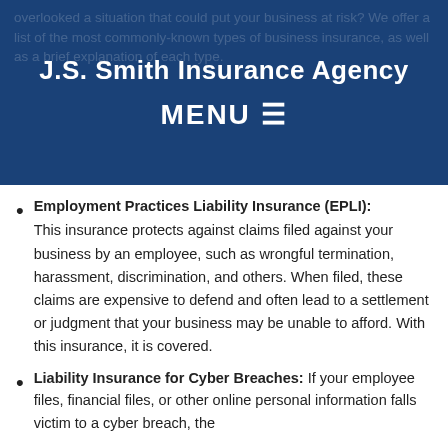J.S. Smith Insurance Agency
MENU ≡
overlooked a situation that could put your business at risk? We offer a list of the most commonly-known types of business insurance, as well as a brief explanation of each type.
Employment Practices Liability Insurance (EPLI): This insurance protects against claims filed against your business by an employee, such as wrongful termination, harassment, discrimination, and others. When filed, these claims are expensive to defend and often lead to a settlement or judgment that your business may be unable to afford. With this insurance, it is covered.
Liability Insurance for Cyber Breaches: If your employee files, financial files, or other online personal information falls victim to a cyber breach, the